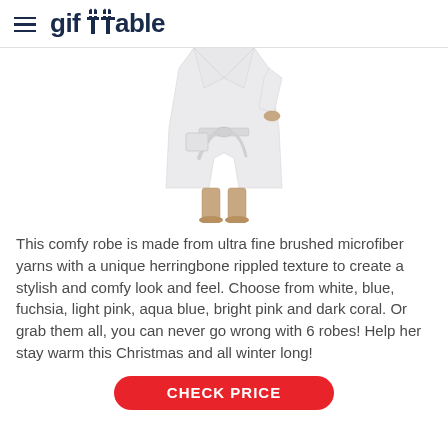gifTTable
[Figure (photo): A person wearing a white fluffy robe, shown from the neck down to the feet, standing on a white background.]
This comfy robe is made from ultra fine brushed microfiber yarns with a unique herringbone rippled texture to create a stylish and comfy look and feel. Choose from white, blue, fuchsia, light pink, aqua blue, bright pink and dark coral. Or grab them all, you can never go wrong with 6 robes! Help her stay warm this Christmas and all winter long!
CHECK PRICE